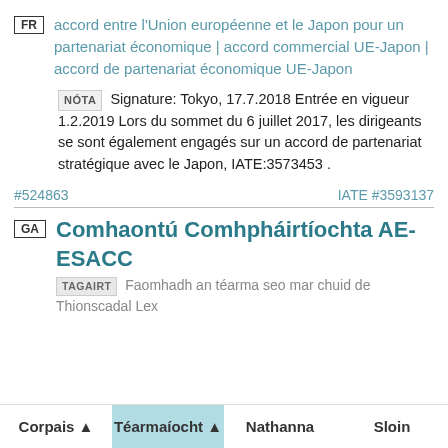FR — accord entre l'Union européenne et le Japon pour un partenariat économique | accord commercial UE-Japon | accord de partenariat économique UE-Japon
NÓTA Signature: Tokyo, 17.7.2018 Entrée en vigueur 1.2.2019 Lors du sommet du 6 juillet 2017, les dirigeants se sont également engagés sur un accord de partenariat stratégique avec le Japon, IATE:3573453 .
#524863    IATE #3593137
GA — Comhaontú Comhpháirtíochta AE-ESACC  TAGAIRT Faomhadh an téarma seo mar chuid de Thionscadal Lex
Corpais ▲   Téarmaíocht ▲   Nathanna   Sloin